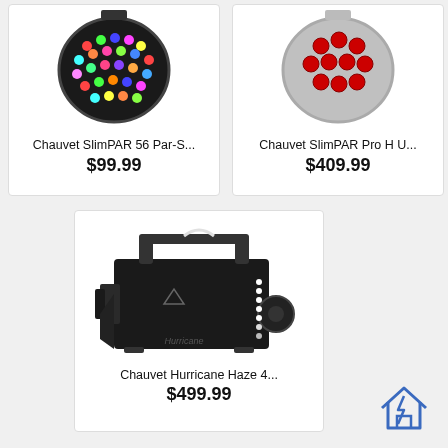[Figure (photo): Chauvet SlimPAR 56 Par-S LED stage light with colorful LEDs]
Chauvet SlimPAR 56 Par-S...
$99.99
[Figure (photo): Chauvet SlimPAR Pro H U LED stage light with red LEDs]
Chauvet SlimPAR Pro H U...
$409.99
[Figure (photo): Chauvet Hurricane Haze 4 fog/haze machine, black box with handle]
Chauvet Hurricane Haze 4...
$499.99
[Figure (illustration): Home/house icon outline in blue]